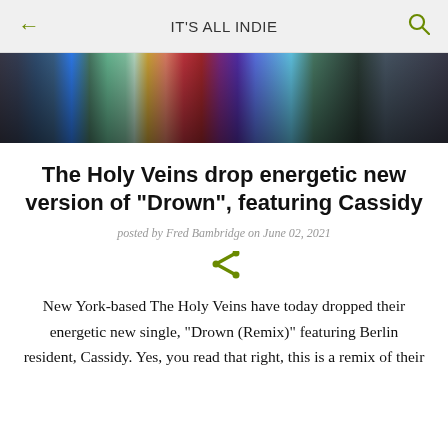IT'S ALL INDIE
[Figure (photo): Colorful spectrum/rainbow gradient hero image with blurred colored pencils or lights, dark at edges]
The Holy Veins drop energetic new version of "Drown", featuring Cassidy
posted by Fred Bambridge on June 02, 2021
[Figure (other): Share icon (less-than sign styled as share button) in olive/green color]
New York-based The Holy Veins have today dropped their energetic new single, "Drown (Remix)" featuring Berlin resident, Cassidy. Yes, you read that right, this is a remix of their